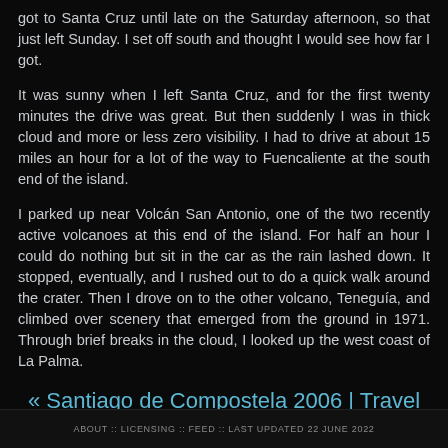got to Santa Cruz until late on the Saturday afternoon, so that just left Sunday. I set off south and thought I would see how far I got.
It was sunny when I left Santa Cruz, and for the first twenty minutes the drive was great. But then suddenly I was in thick cloud and more or less zero visibility. I had to drive at about 15 miles an hour for a lot of the way to Fuencaliente at the south end of the island.
I parked up near Volcán San Antonio, one of the two recently active volcanoes at this end of the island. For half an hour I could do nothing but sit in the car as the rain lashed down. It stopped, eventually, and I rushed out to do a quick walk around the crater. Then I drove on to the other volcano, Teneguía, and climbed over scenery that emerged from the ground in 1971. Through brief breaks in the cloud, I looked up the west coast of La Palma.
« Santiago de Compostela 2006 | Travel pages | Finland 2006 »
ABOUT :: LICENSING :: FEED :: LAST UPDATED 22 JUNE 2022